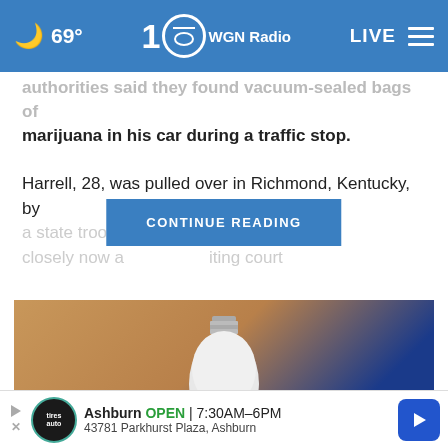🌙 69° | WGN Radio | LIVE
authorities said they found vacuum-sealed bags of marijuana in his car during a traffic stop.
Harrell, 28, was pulled over in Richmond, Kentucky, by a state trooper [CONTINUE READING] d a vehicle too closely now a [obscured] iting court
[Figure (photo): A white LED light bulb against a blurred background of wood and blue surfaces]
This Lightbulb Security Camera Is
[Figure (infographic): Advertisement: Ashburn OPEN 7:30AM-6PM, 43781 Parkhurst Plaza, Ashburn, Tires Plus auto shop]